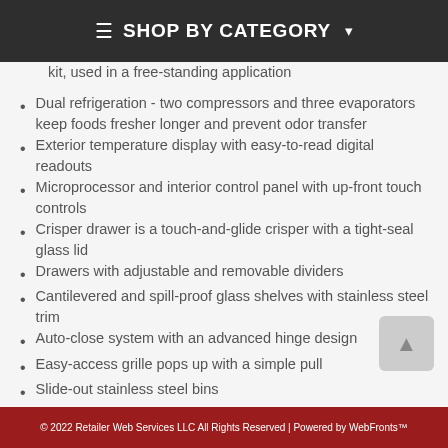SHOP BY CATEGORY
kit, used in a free-standing application
Dual refrigeration - two compressors and three evaporators keep foods fresher longer and prevent odor transfer
Exterior temperature display with easy-to-read digital readouts
Microprocessor and interior control panel with up-front touch controls
Crisper drawer is a touch-and-glide crisper with a tight-seal glass lid
Drawers with adjustable and removable dividers
Cantilevered and spill-proof glass shelves with stainless steel trim
Auto-close system with an advanced hinge design
Easy-access grille pops up with a simple pull
Slide-out stainless steel bins
Automatic ice maker
Water filter
© 2022 Retailer Web Services LLC All Rights Reserved | Powered by WebFronts™